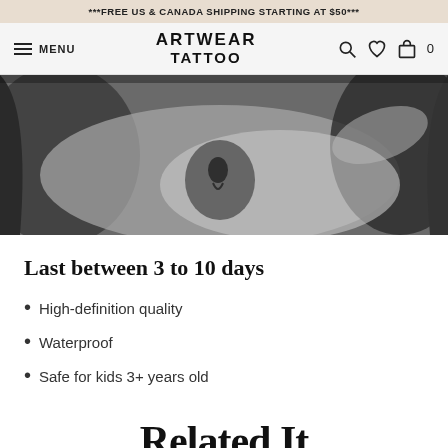***FREE US & CANADA SHIPPING STARTING AT $50***
ARTWEAR TATTOO
[Figure (photo): Black and white photo of a person lying down showing a tattoo on their torso, with another person's hands visible, likely applying or showing a temporary tattoo]
Last between 3 to 10 days
High-definition quality
Waterproof
Safe for kids 3+ years old
Related It...